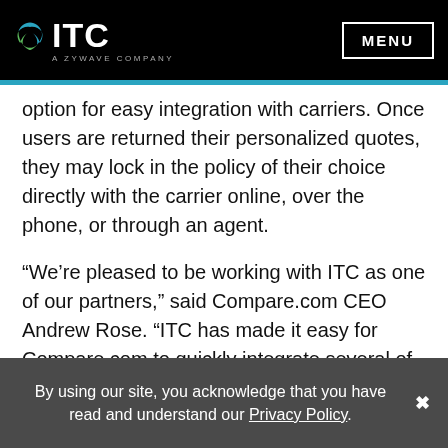ITC – A ZYWAVE COMPANY | MENU
option for easy integration with carriers. Once users are returned their personalized quotes, they may lock in the policy of their choice directly with the carrier online, over the phone, or through an agent.
“We’re pleased to be working with ITC as one of our partners,” said Compare.com CEO Andrew Rose. “ITC has made it easy for Compare.com to quickly integrate several of our carriers in various states, accelerating their adoption of the Compare.com business model.”
“Working with Compare.com is part of our goal at ITC in helping carriers and independent agents and brokers reach
By using our site, you acknowledge that you have read and understand our Privacy Policy.